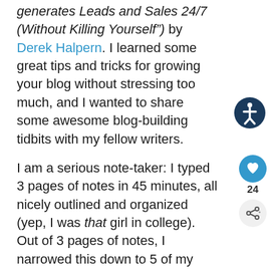generates Leads and Sales 24/7 (Without Killing Yourself") by Derek Halpern. I learned some great tips and tricks for growing your blog without stressing too much, and I wanted to share some awesome blog-building tidbits with my fellow writers.
I am a serious note-taker: I typed 3 pages of notes in 45 minutes, all nicely outlined and organized (yep, I was that girl in college). Out of 3 pages of notes, I narrowed this down to 5 of my favorite Halpern tips, along with a couple quotes.